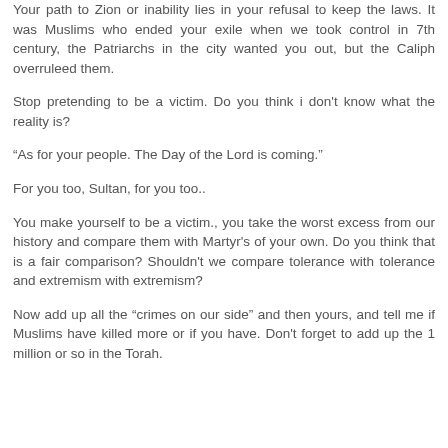Your path to Zion or inability lies in your refusal to keep the laws. It was Muslims who ended your exile when we took control in 7th century, the Patriarchs in the city wanted you out, but the Caliph overruleed them.
Stop pretending to be a victim. Do you think i don't know what the reality is?
“As for your people. The Day of the Lord is coming.”
For you too, Sultan, for you too..
You make yourself to be a victim., you take the worst excess from our history and compare them with Martyr's of your own. Do you think that is a fair comparison? Shouldn't we compare tolerance with tolerance and extremism with extremism?
Now add up all the “crimes on our side” and then yours, and tell me if Muslims have killed more or if you have. Don't forget to add up the 1 million or so in the Torah.